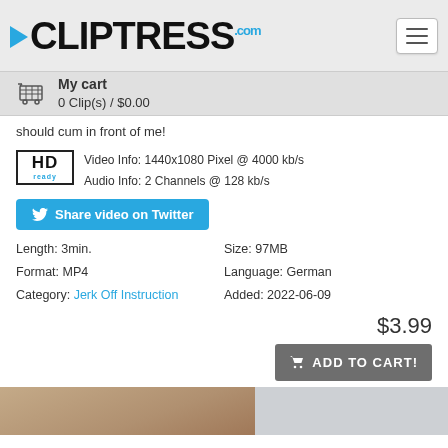CLIPTRESS.com — My cart 0 Clip(s) / $0.00
should cum in front of me!
Video Info: 1440x1080 Pixel @ 4000 kb/s
Audio Info: 2 Channels @ 128 kb/s
Share video on Twitter
Length: 3min.
Format: MP4
Category: Jerk Off Instruction
Size: 97MB
Language: German
Added: 2022-06-09
$3.99
ADD TO CART!
[Figure (photo): Thumbnail images at bottom of page]